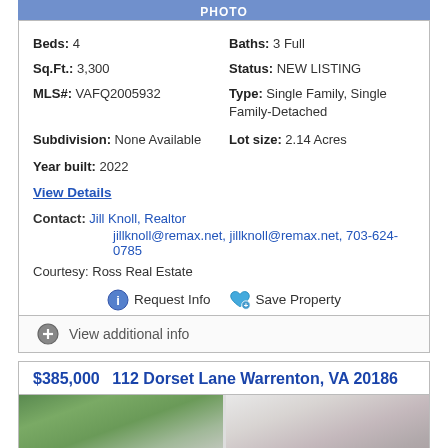Beds: 4   Baths: 3 Full
Sq.Ft.: 3,300   Status: NEW LISTING
MLS#: VAFQ2005932   Type: Single Family, Single Family-Detached
Subdivision: None Available   Lot size: 2.14 Acres
Year built: 2022
View Details
Contact: Jill Knoll, Realtor
jillknoll@remax.net, jillknoll@remax.net, 703-624-0785
Courtesy: Ross Real Estate
Request Info   Save Property
View additional info
$385,000   112 Dorset Lane Warrenton, VA 20186
[Figure (photo): Exterior photo of house at 112 Dorset Lane, showing siding and trees]